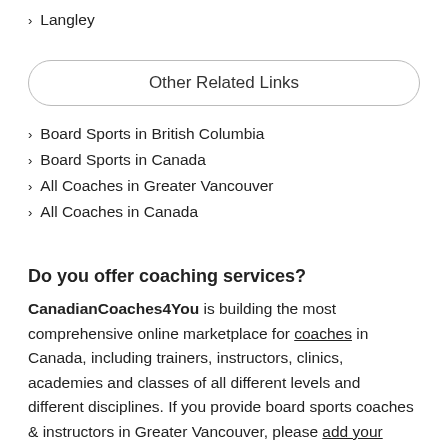Langley
Other Related Links
Board Sports in British Columbia
Board Sports in Canada
All Coaches in Greater Vancouver
All Coaches in Canada
Do you offer coaching services?
CanadianCoaches4You is building the most comprehensive online marketplace for coaches in Canada, including trainers, instructors, clinics, academies and classes of all different levels and different disciplines. If you provide board sports coaches & instructors in Greater Vancouver, please add your details to CanadianCoaches4You